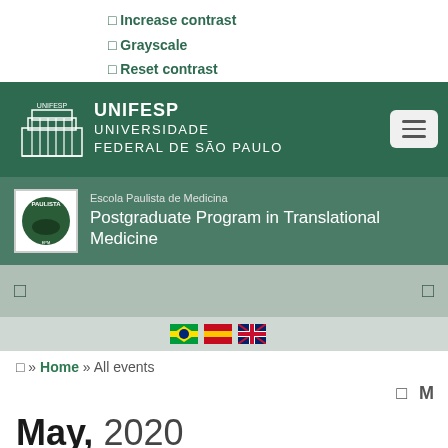Increase contrast
Grayscale
Reset contrast
[Figure (logo): UNIFESP logo with building illustration and text Universidade Federal de São Paulo on dark green header background with hamburger menu button]
[Figure (logo): Escola Paulista de Medicina badge and Postgraduate Program in Translational Medicine title on medium green header]
Home » All events
May, 2020
By Year  By Month  By Week  Today
Jump to month